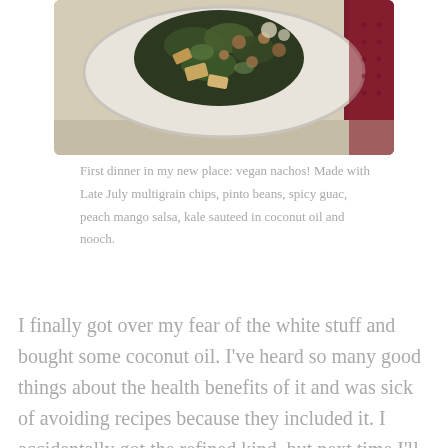[Figure (photo): A top-down photo of a plate of vegan nachos with kale, pinto beans, and other toppings on a white plate against a dark red background.]
First dinner in my new place: vegan nachos! Made with Late July multigrain chips, pinto beans, spicy guac, peach mango salsa, kale sauteed in coconut oil and nooch.
I finally got over my fear of the white stuff and bought some coconut oil. I've heard so many good things about the health benefits of it and was sick of avoiding recipes because they included it. I accidentally got the refined kind, but next time I'll know to get the extra virgin kind for coconutty fl...